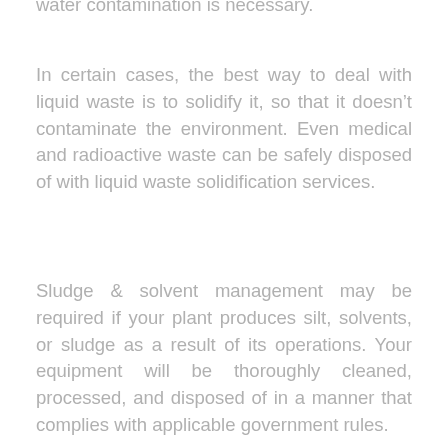water contamination is necessary.
In certain cases, the best way to deal with liquid waste is to solidify it, so that it doesn't contaminate the environment. Even medical and radioactive waste can be safely disposed of with liquid waste solidification services.
Sludge & solvent management may be required if your plant produces silt, solvents, or sludge as a result of its operations. Your equipment will be thoroughly cleaned, processed, and disposed of in a manner that complies with applicable government rules.